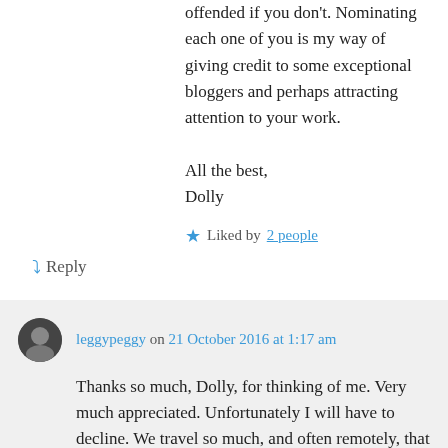offended if you don't. Nominating each one of you is my way of giving credit to some exceptional bloggers and perhaps attracting attention to your work.
All the best,
Dolly
Liked by 2 people
Reply
leggypeggy on 21 October 2016 at 1:17 am
Thanks so much, Dolly, for thinking of me. Very much appreciated. Unfortunately I will have to decline. We travel so much, and often remotely, that I can never be sure of